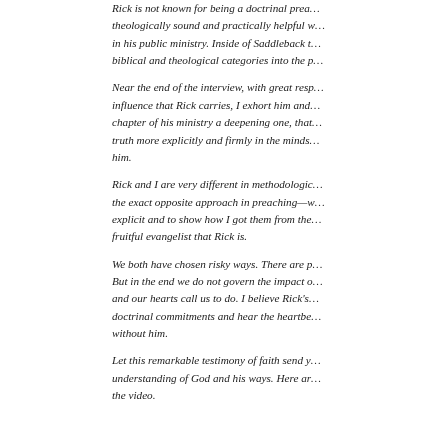Rick is not known for being a doctrinal preacher. He has been theologically sound and practically helpful with great results in his public ministry. Inside of Saddleback there are deep biblical and theological categories into the p...
Near the end of the interview, with great resp... influence that Rick carries, I exhort him and... chapter of his ministry a deepening one, that... truth more explicitly and firmly in the minds... him.
Rick and I are very different in methodologic... the exact opposite approach in preaching—w... explicit and to show how I got them from the... fruitful evangelist that Rick is.
We both have chosen risky ways. There are p... But in the end we do not govern the impact o... and our hearts call us to do. I believe Rick's... doctrinal commitments and hear the heartbe... without him.
Let this remarkable testimony of faith send y... understanding of God and his ways. Here ar... the video.